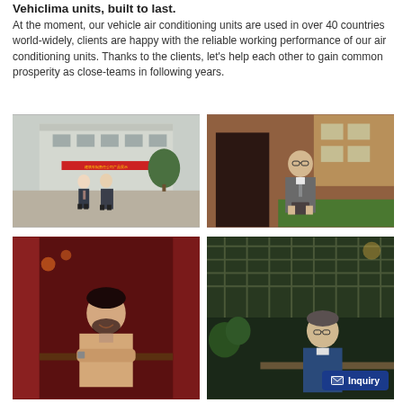VehicIima units, built to last.
At the moment, our vehicle air conditioning units are used in over 40 countries world-widely, clients are happy with the reliable working performance of our air conditioning units. Thanks to the clients, let's help each other to gain common prosperity as close-teams in following years.
[Figure (photo): Two men in business suits standing in front of a large building with Chinese characters on a red banner, trees and a courtyard visible.]
[Figure (photo): A man in a grey suit and glasses standing outside a brick building, holding a small device (possibly a GPS or camera).]
[Figure (photo): A man with dark hair and beard sitting at a restaurant table with red decor, arms crossed, smiling.]
[Figure (photo): A man sitting at an outdoor restaurant table with green plants and lattice in the background, with an Inquiry button overlaid in the lower right.]